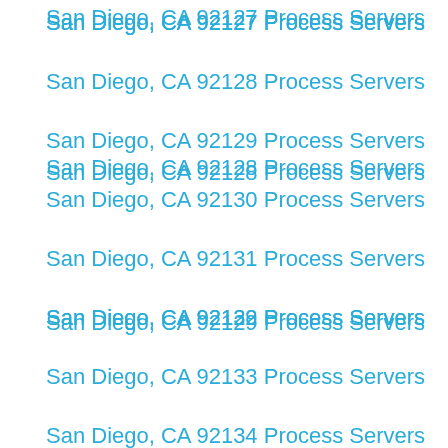San Diego, CA 92127 Process Servers
San Diego, CA 92128 Process Servers
San Diego, CA 92129 Process Servers
San Diego, CA 92130 Process Servers
San Diego, CA 92131 Process Servers
San Diego, CA 92132 Process Servers
San Diego, CA 92133 Process Servers
San Diego, CA 92134 Process Servers